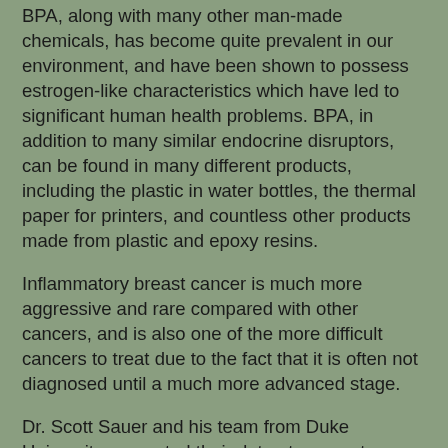BPA, along with many other man-made chemicals, has become quite prevalent in our environment, and have been shown to possess estrogen-like characteristics which have led to significant human health problems.  BPA, in addition to many similar endocrine disruptors, can be found in many different products, including the plastic in water bottles, the thermal paper for printers, and countless other products made from plastic and epoxy resins.
Inflammatory breast cancer is much more aggressive and rare compared with other cancers, and is also one of the more difficult cancers to treat due to the fact that it is often not diagnosed until a much more advanced stage.
Dr. Scott Sauer and his team from Duke University presented their data at a recent meeting and found that BPA was the most active endocrine disruptor in the breast cancer cells study, and BPA actually increases the rate of inflammatory breast cancer cell growth and spread/proliferation.  Specifically, BPA increased pEGFR and pERK levels in EGFR-activated breast cancer cells, as well as increased expression of a few antioxidants in these same cells, the levels of which are important in the proliferation